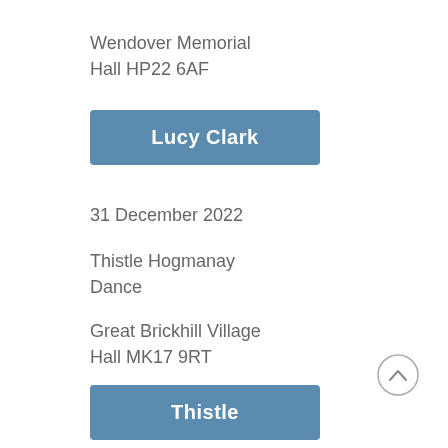Wendover Memorial Hall HP22 6AF
Lucy Clark
31 December 2022
Thistle Hogmanay Dance
Great Brickhill Village Hall MK17 9RT
Thistle